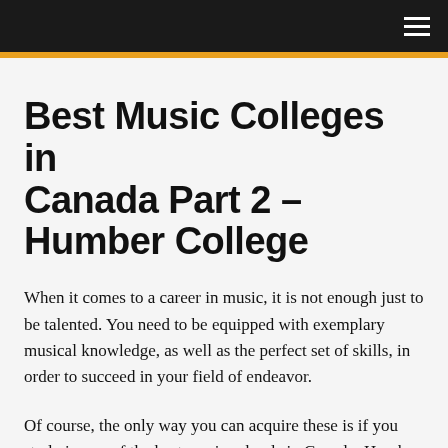≡
Best Music Colleges in Canada Part 2 – Humber College
When it comes to a career in music, it is not enough just to be talented. You need to be equipped with exemplary musical knowledge, as well as the perfect set of skills, in order to succeed in your field of endeavor.
Of course, the only way you can acquire these is if you study in one of the best music schools in Canada: Humber College.
Although it is a smaller community compared to major Canadian universities, it is undoubtedly one of the most